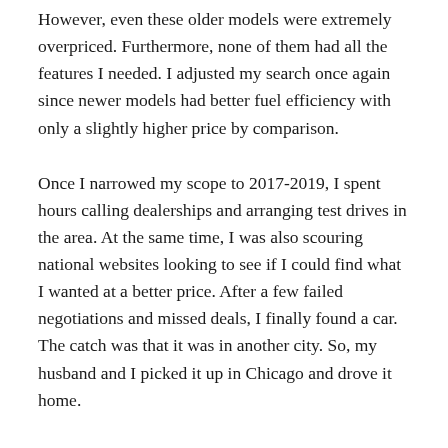However, even these older models were extremely overpriced. Furthermore, none of them had all the features I needed. I adjusted my search once again since newer models had better fuel efficiency with only a slightly higher price by comparison.
Once I narrowed my scope to 2017-2019, I spent hours calling dealerships and arranging test drives in the area. At the same time, I was also scouring national websites looking to see if I could find what I wanted at a better price. After a few failed negotiations and missed deals, I finally found a car. The catch was that it was in another city. So, my husband and I picked it up in Chicago and drove it home.
3 Reasons Why You Should Wait to